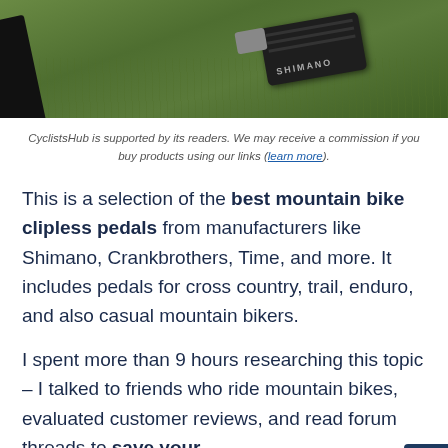[Figure (photo): Close-up photo of a Shimano mountain bike clipless pedal against a green grass background, with a dark bicycle crank arm visible on the left side.]
CyclistsHub is supported by its readers. We may receive a commission if you buy products using our links (learn more).
This is a selection of the best mountain bike clipless pedals from manufacturers like Shimano, Crankbrothers, Time, and more. It includes pedals for cross country, trail, enduro, and also casual mountain bikers.
I spent more than 9 hours researching this topic – I talked to friends who ride mountain bikes, evaluated customer reviews, and read forum threads to save your time.